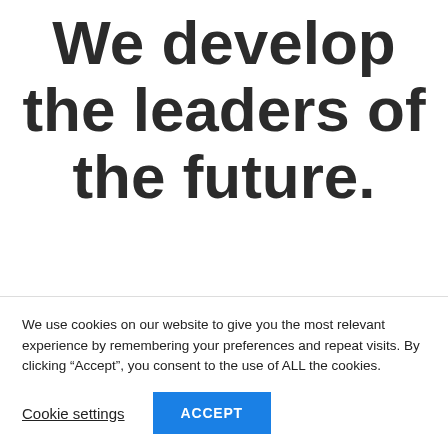We develop the leaders of the future.
AIESEC is a global youth-network
We use cookies on our website to give you the most relevant experience by remembering your preferences and repeat visits. By clicking “Accept”, you consent to the use of ALL the cookies.
Cookie settings
ACCEPT